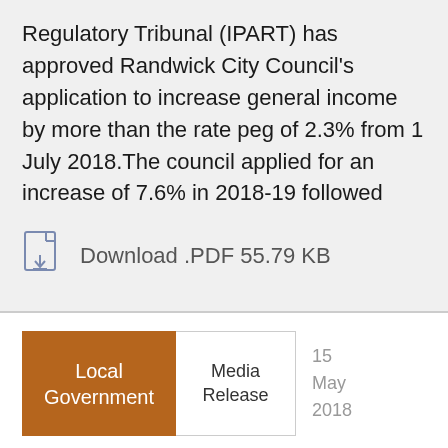Regulatory Tribunal (IPART) has approved Randwick City Council's application to increase general income by more than the rate peg of 2.3% from 1 July 2018.The council applied for an increase of 7.6% in 2018-19 followed
Download .PDF 55.79 KB
Local Government
Media Release
15 May 2018
Media Release - Willoughby Council special rate variation application not approved -